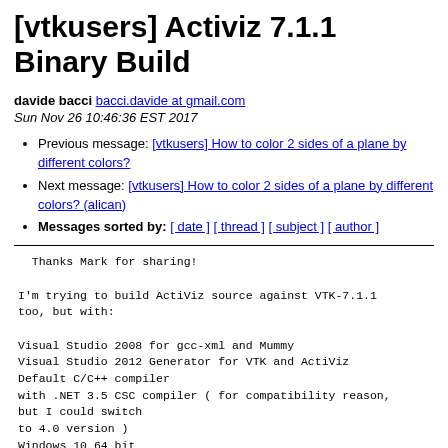[vtkusers] Activiz 7.1.1 Binary Build
davide bacci bacci.davide at gmail.com
Sun Nov 26 10:46:36 EST 2017
Previous message: [vtkusers] How to color 2 sides of a plane by different colors?
Next message: [vtkusers] How to color 2 sides of a plane by different colors? (alican)
Messages sorted by: [ date ] [ thread ] [ subject ] [ author ]
Thanks Mark for sharing!

I'm trying to build ActiViz source against VTK-7.1.1
too, but with:

Visual Studio 2008 for gcc-xml and Mummy
Visual Studio 2012 Generator for VTK and ActiViz
Default C/C++ compiler
with .NET 3.5 CSC compiler ( for compatibility reason,
but I could switch
to 4.0 version )
Windows 10 64 bit